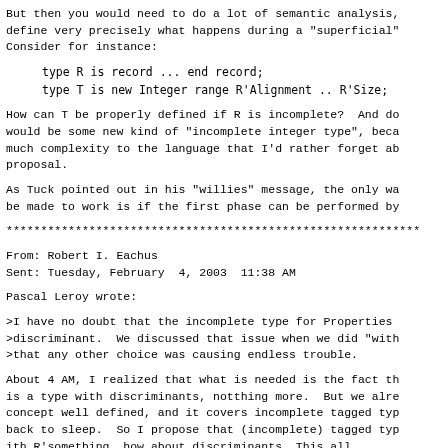But then you would need to do a lot of semantic analysis, define very precisely what happens during a "superficial" Consider for instance:
How can T be properly defined if R is incomplete?  And do would be some new kind of "incomplete integer type", beca much complexity to the language that I'd rather forget ab proposal.
As Tuck pointed out in his "willies" message, the only wa be made to work is if the first phase can be performed by
************************************************************
From: Robert I. Eachus
Sent: Tuesday, February  4, 2003  11:38 AM
Pascal Leroy wrote:
>I have no doubt that the incomplete type for Properties >discriminant.  We discussed that issue when we did "with >that any other choice was causing endless trouble.
About 4 AM, I realized that what is needed is the fact th is a type with discriminants, notthing more.  But we alre concept well defined, and it covers incomplete tagged typ back to sleep.  So I propose that (incomplete) tagged typ ith R'something, how about discriminants. This all